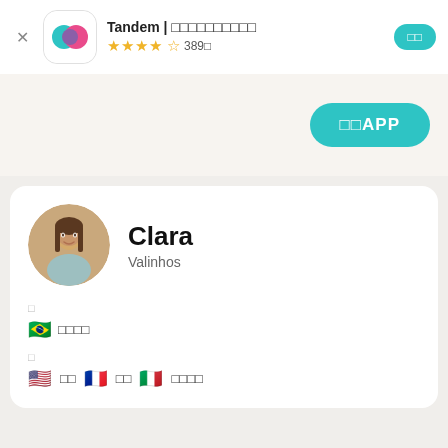Tandem | □□□□□□□□□□
★★★★½ 389□
□□APP
Clara
Valinhos
□
□□□□
□
□□ □□ □□□□